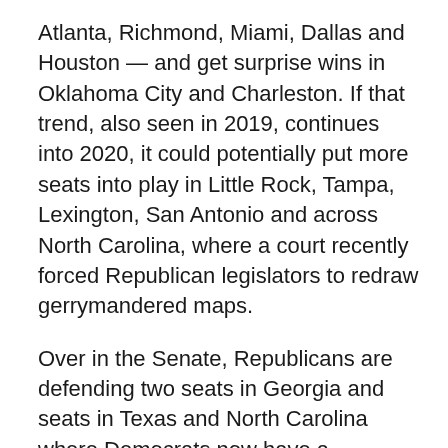Atlanta, Richmond, Miami, Dallas and Houston — and get surprise wins in Oklahoma City and Charleston. If that trend, also seen in 2019, continues into 2020, it could potentially put more seats into play in Little Rock, Tampa, Lexington, San Antonio and across North Carolina, where a court recently forced Republican legislators to redraw gerrymandered maps.
Over in the Senate, Republicans are defending two seats in Georgia and seats in Texas and North Carolina where Democrats now have a plausible path to victory, if they can push the urban/suburban vote past the pro-Trump margin in small towns and rural areas as they did in 2019. And the eyes of the nation will be on Kentucky, where Senate Majority Leader Mitch McConnell will be defending his seat in the wake of Beshear's breakthrough.